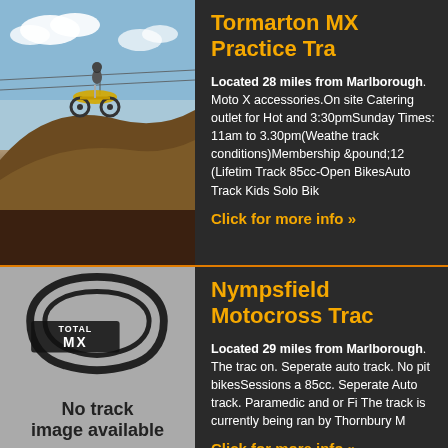[Figure (photo): Motocross rider on a yellow dirt bike jumping over a dirt mound with a blue sky background]
Tormarton MX Practice Tra
Located 28 miles from Marlborough. Moto X accessories.On site Catering outlet for Hot and 3:30pmSunday Times: 11am to 3.30pm(Weathe track conditions)Membership &pound;12 (Lifetim Track 85cc-Open BikesAuto Track Kids Solo Bik
Click for more info »
[Figure (logo): Total MX logo on grey background with track outline illustration and text 'No track image available']
Nympsfield Motocross Trac
Located 29 miles from Marlborough. The trac on. Seperate auto track. No pit bikesSessions a 85cc. Seperate Auto track. Paramedic and or Fi The track is currently being ran by Thornbury M
Click for more info »